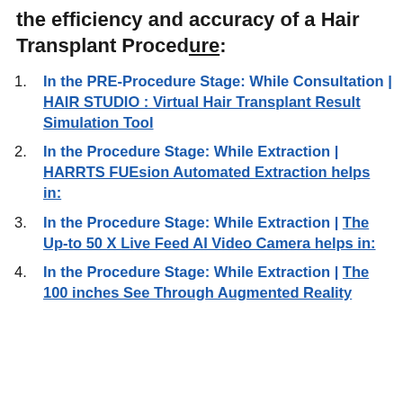the efficiency and accuracy of a Hair Transplant Procedure:
In the PRE-Procedure Stage: While Consultation | HAIR STUDIO : Virtual Hair Transplant Result Simulation Tool
In the Procedure Stage: While Extraction | HARRTS FUEsion Automated Extraction helps in:
In the Procedure Stage: While Extraction | The Up-to 50 X Live Feed AI Video Camera helps in:
In the Procedure Stage: While Extraction | The 100 inches See Through Augmented Reality